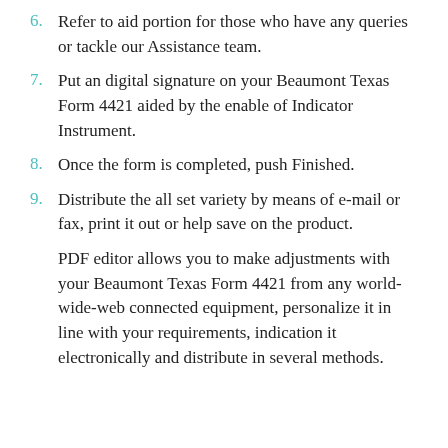6. Refer to aid portion for those who have any queries or tackle our Assistance team.
7. Put an digital signature on your Beaumont Texas Form 4421 aided by the enable of Indicator Instrument.
8. Once the form is completed, push Finished.
9. Distribute the all set variety by means of e-mail or fax, print it out or help save on the product.
PDF editor allows you to make adjustments with your Beaumont Texas Form 4421 from any world-wide-web connected equipment, personalize it in line with your requirements, indication it electronically and distribute in several methods.